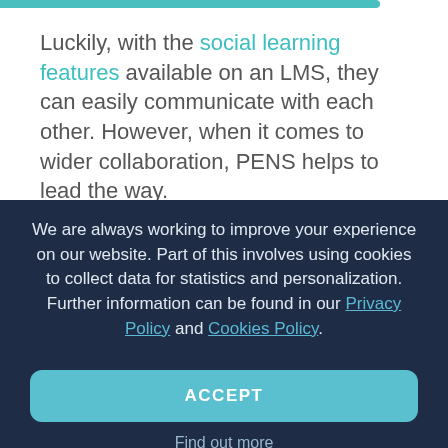Luckily, with the social learning features available on an LMS, they can easily communicate with each other. However, when it comes to wider collaboration, PENS helps to lead the way.
We are always working to improve your experience on our website. Part of this involves using cookies to collect data for statistics and personalization. Further information can be found in our Privacy Policy and Cookies Policy.
ACCEPT
Find out more